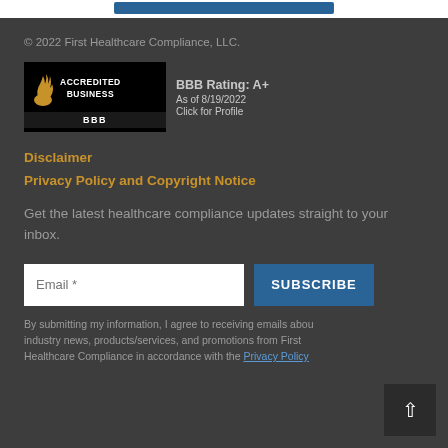© 2022 First Healthcare Compliance, LLC.
[Figure (logo): BBB Accredited Business logo with BBB Rating: A+ as of 8/19/2022, Click for Profile]
Disclaimer
Privacy Policy and Copyright Notice
Get the latest healthcare compliance updates straight to your inbox.
Email *
SUBSCRIBE
By submitting my information, I agree to receiving emails about industry news, products/services, and promotions from First Healthcare Compliance in accordance with the Privacy Policy